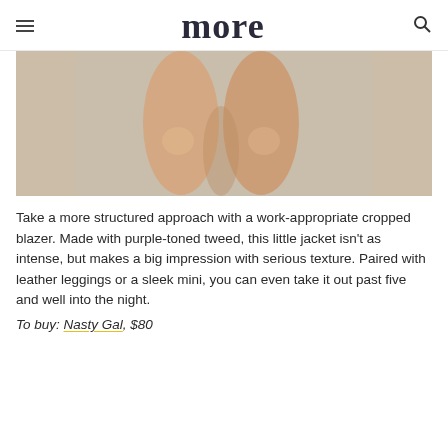more
[Figure (photo): Cropped photo showing legs of a model against a light grey background, wearing a short outfit]
Take a more structured approach with a work-appropriate cropped blazer. Made with purple-toned tweed, this little jacket isn't as intense, but makes a big impression with serious texture. Paired with leather leggings or a sleek mini, you can even take it out past five and well into the night.
To buy: Nasty Gal, $80